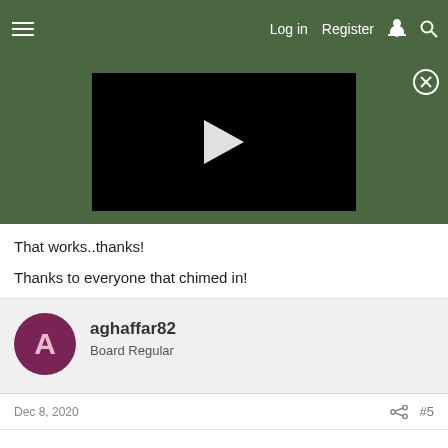Log in  Register
[Figure (screenshot): Video player with black screen and white play button triangle, on dark green background with close button]
That works..thanks!
Thanks to everyone that chimed in!
aghaffar82
Board Regular
Dec 8, 2020
#5